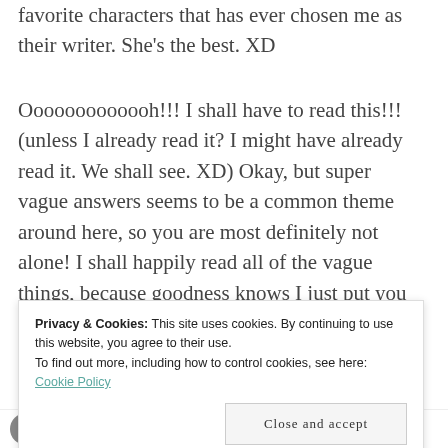favorite characters that has ever chosen me as their writer. She's the best. XD
Ooooooooooooh!!! I shall have to read this!!! (unless I already read it? I might have already read it. We shall see. XD) Okay, but super vague answers seems to be a common theme around here, so you are most definitely not alone! I shall happily read all of the vague things, because goodness knows I just put you all through that, too. XD
Privacy & Cookies: This site uses cookies. By continuing to use this website, you agree to their use.
To find out more, including how to control cookies, see here: Cookie Policy
Close and accept
THE FRANK EXPERIMENT: